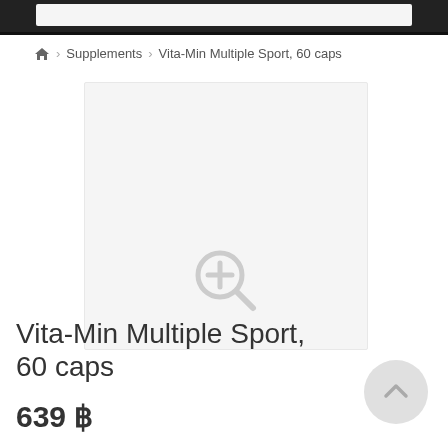Supplements > Vita-Min Multiple Sport, 60 caps
[Figure (photo): Product image placeholder with zoom icon — light gray rectangle indicating product photo area for Vita-Min Multiple Sport, 60 caps supplement]
Vita-Min Multiple Sport, 60 caps
639 ฿